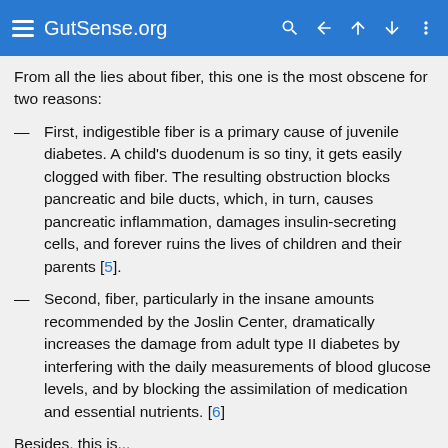GutSense.org
From all the lies about fiber, this one is the most obscene for two reasons:
First, indigestible fiber is a primary cause of juvenile diabetes. A child's duodenum is so tiny, it gets easily clogged with fiber. The resulting obstruction blocks pancreatic and bile ducts, which, in turn, causes pancreatic inflammation, damages insulin-secreting cells, and forever ruins the lives of children and their parents [5].
Second, fiber, particularly in the insane amounts recommended by the Joslin Center, dramatically increases the damage from adult type II diabetes by interfering with the daily measurements of blood glucose levels, and by blocking the assimilation of medication and essential nutrients. [6]
Besides, this is...